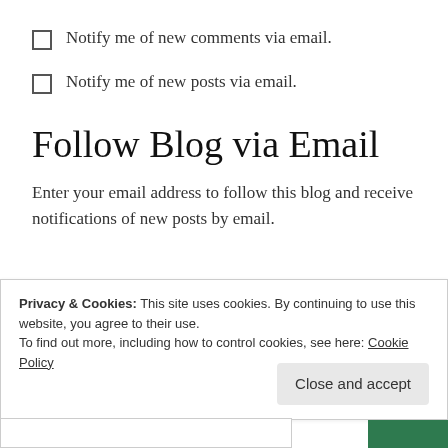Notify me of new comments via email.
Notify me of new posts via email.
Follow Blog via Email
Enter your email address to follow this blog and receive notifications of new posts by email.
Privacy & Cookies: This site uses cookies. By continuing to use this website, you agree to their use. To find out more, including how to control cookies, see here: Cookie Policy
Close and accept